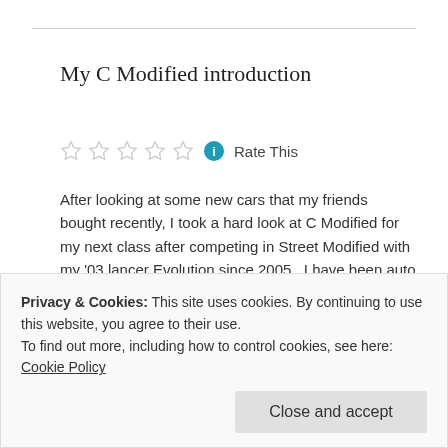My C Modified introduction
[Figure (other): 5-star rating widget (all empty/outline stars) with info icon and 'Rate This' label]
After looking at some new cars that my friends bought recently, I took a hard look at C Modified for my next class after competing in Street Modified with my '03 lancer Evolution since 2005. I have been auto crossing this car since it was new, and finding a new autocross car has been very…
April 30, 2012 in American Autocross Series, Autocross, C Modified, Formula Ford, SFR Autocross.
Privacy & Cookies: This site uses cookies. By continuing to use this website, you agree to their use.
To find out more, including how to control cookies, see here: Cookie Policy
Close and accept